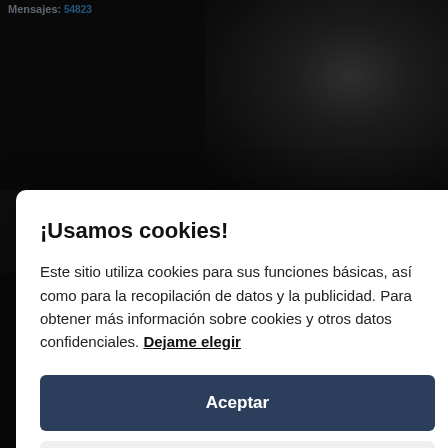Mensajes: 54823
¡Usamos cookies!
Este sitio utiliza cookies para sus funciones básicas, así como para la recopilación de datos y la publicidad. Para obtener más información sobre cookies y otros datos confidenciales. Dejame elegir
Aceptar
Close
02- The Black Sheep
03- Thy Serpents Tongue
04- Soul Destroyer
05- Vindication
06- Marching Through Graveyards